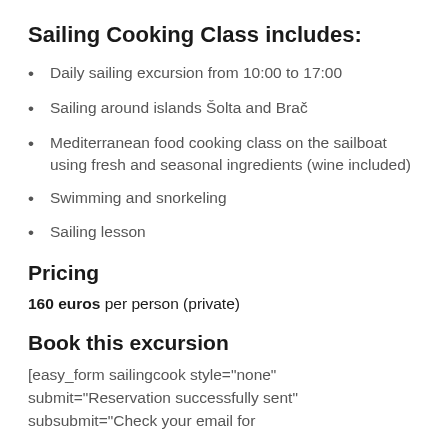Sailing Cooking Class includes:
Daily sailing excursion from 10:00 to 17:00
Sailing around islands Šolta and Brač
Mediterranean food cooking class on the sailboat using fresh and seasonal ingredients (wine included)
Swimming and snorkeling
Sailing lesson
Pricing
160 euros per person (private)
Book this excursion
[easy_form sailingcook style="none" submit="Reservation successfully sent" subsubmit="Check your email for